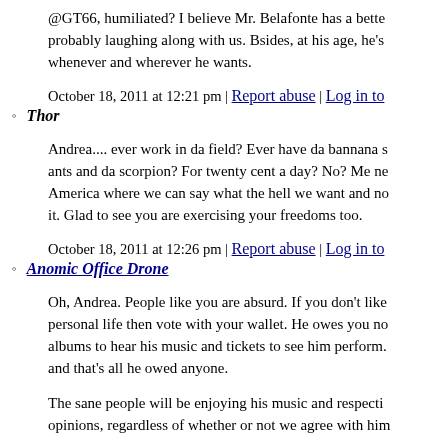@GT66, humiliated? I believe Mr. Belafonte has a better sense of humor, he's probably laughing along with us. Bsides, at his age, he's probably laughing along with us. Bsides, at his age, he's whenever and wherever he wants.
October 18, 2011 at 12:21 pm | Report abuse | Log in to
Thor
Andrea.... ever work in da field? Ever have da bannana s ants and da scorpion? For twenty cent a day? No? Me ne America where we can say what the hell we want and no it. Glad to see you are exercising your freedoms too.
October 18, 2011 at 12:26 pm | Report abuse | Log in to
Anomic Office Drone
Oh, Andrea. People like you are absurd. If you don't like personal life then vote with your wallet. He owes you no albums to hear his music and tickets to see him perform. and that's all he owed anyone.
The sane people will be enjoying his music and respecti opinions, regardless of whether or not we agree with him
October 18, 2011 at 12:28 pm | Report abuse | Log in to
Tony